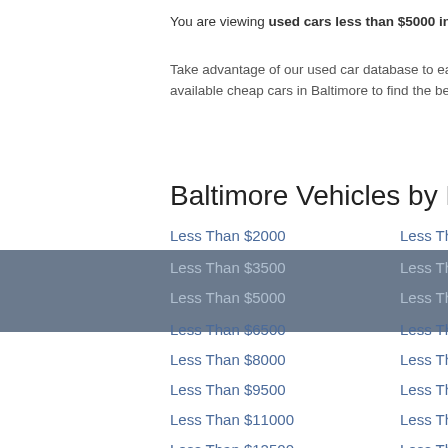You are viewing used cars less than $5000 in Baltimore, Maryland 21237.
Take advantage of our used car database to easily find a pre-owned vehicle in Baltimore, Maryland less than or near $5000. Browse all available cheap cars in Baltimore to find the best deal on a used car near your home town.
Baltimore Vehicles by Price
Less Than $2000
Less Than $2500
Less Than $3000
Less Than $3500
Less Than $4000
Less Than $4500
Less Than $5000
Less Than $5500
Less Than $6000
Less Than $6500
Less Than $7000
Less Than $7500
Less Than $8000
Less Than $8500
Less Than $9000
Less Than $9500
Less Than $10000
Less Than $10500
Less Than $11000
Less Than $11500
Less Than $12000
Less Than $12500
Less Than $13000
Less Than $13500
Less Than $14000
Less Than $14500
Less Than $15000
Less Than $15500
Less Than $16000
Less Than $16500
Less Than $17000
Less Than $17500
Less Than $18000
Less Than $18500
Less Than $19000
Less Than $19500
Less Than $20000
Less Than $25000
Less Than $30000